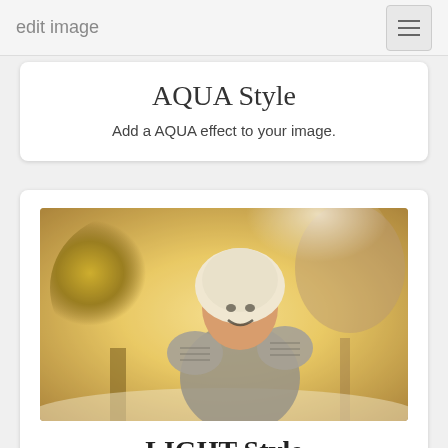edit image
AQUA Style
Add a AQUA effect to your image.
[Figure (photo): A smiling young woman wearing a white hooded sweater and patterned mittens, outdoors in warm golden light with blurred trees in the background.]
LIGHT Style